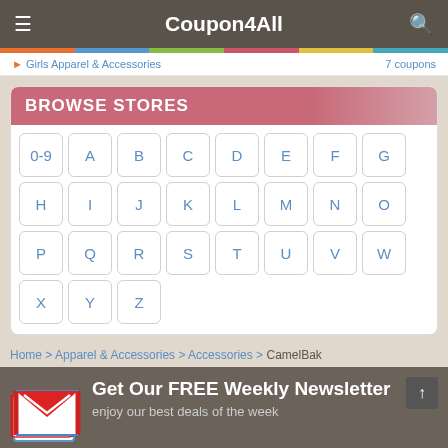Coupon4All
Girls Apparel & Accessories — 7 coupons
BROWSE STORES
0-9 A B C D E F G H I J K L M N O P Q R S T U V W X Y Z
Home > Apparel & Accessories > Accessories > CamelBak
[Figure (illustration): Gmail-style envelope icon for newsletter signup]
Get Our FREE Weekly Newsletter
enjoy our best deals of the week
Enter email address
Subscribe